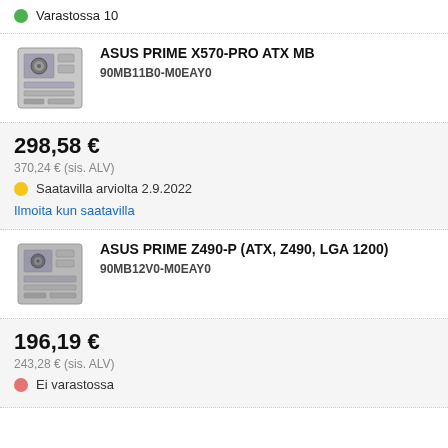Varastossa 10
ASUS PRIME X570-PRO ATX MB
90MB11B0-M0EAY0
298,58 €
370,24 € (sis. ALV)
Saatavilla arviolta 2.9.2022
Ilmoita kun saatavilla
ASUS PRIME Z490-P (ATX, Z490, LGA 1200)
90MB12V0-M0EAY0
196,19 €
243,28 € (sis. ALV)
Ei varastossa